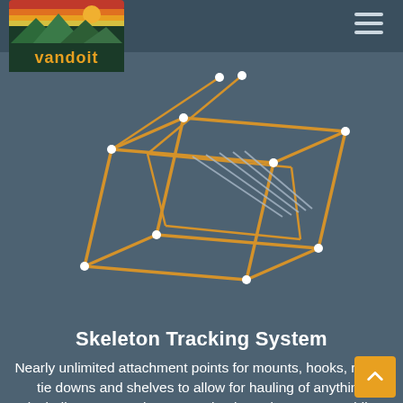[Figure (logo): Vandoit logo: outdoor mountain scene with sunset stripes in red, orange, yellow on top; green mountains; 'vandoit' text in yellow on dark green background]
[Figure (illustration): Line illustration of a Skeleton Tracking System: an open box/crate skeleton frame drawn in orange/gold lines with white connector dots, shown at an angle with multiple cross-bars and tracking rails, on a dark blue-grey background]
Skeleton Tracking System
Nearly unlimited attachment points for mounts, hooks, racks, tie downs and shelves to allow for hauling of anything including motorcycles, ATV's, business inventory, paddle boards or toys of any type